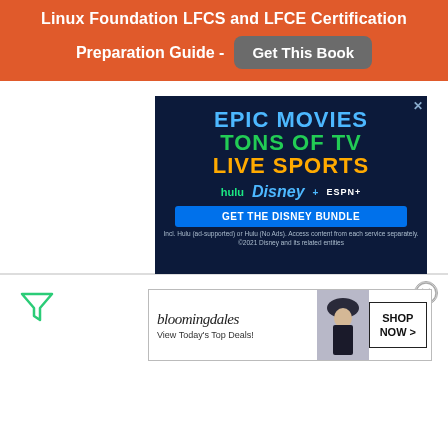Linux Foundation LFCS and LFCE Certification Preparation Guide - Get This Book
[Figure (advertisement): Disney Bundle ad with dark navy background. Text: EPIC MOVIES (blue), TONS OF TV (green), LIVE SPORTS (yellow/orange). Shows Hulu, Disney+, and ESPN+ logos. Button: GET THE DISNEY BUNDLE. Fine print: Incl. Hulu (ad-supported) or Hulu (No Ads). Access content from each service separately. ©2021 Disney and its related entities]
[Figure (advertisement): Bloomingdale's ad: logo text 'bloomingdales', subtext 'View Today's Top Deals!', model with hat, SHOP NOW > button]